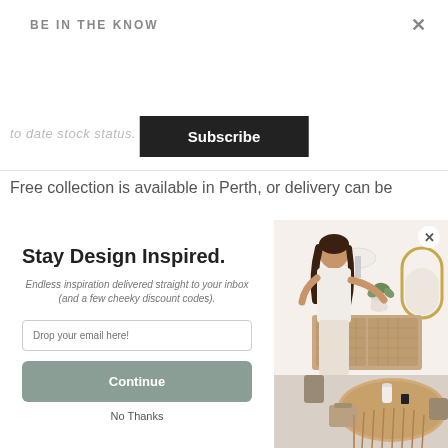BE IN THE KNOW
×
[Figure (screenshot): Black Subscribe button]
to date stock status.
Free collection is available in Perth, or delivery can be
Stay Design Inspired.
Endless inspiration delivered straight to your inbox (and a few cheeky discount codes).
Drop your email here!
[Figure (screenshot): Sage green Continue button]
No Thanks
[Figure (photo): Woman arranging plants on a wooden sideboard in a bright Scandinavian-style dining room with round wooden table, rattan chairs, arched gold mirror, and white lamp]
×